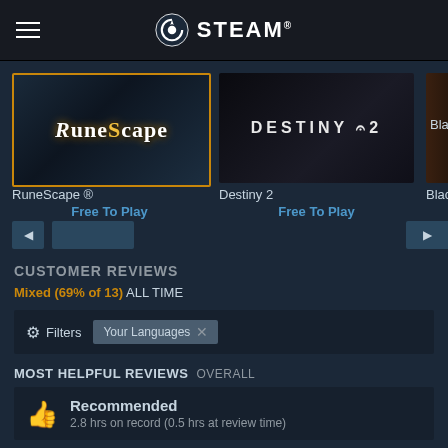STEAM
[Figure (screenshot): RuneScape game card with golden border]
RuneScape ®
Free To Play
[Figure (screenshot): Destiny 2 game card on dark background]
Destiny 2
Free To Play
Black (partially visible)
CUSTOMER REVIEWS
Mixed (69% of 13) ALL TIME
Filters  Your Languages ✕
MOST HELPFUL REVIEWS  OVERALL
Recommended
2.8 hrs on record (0.5 hrs at review time)